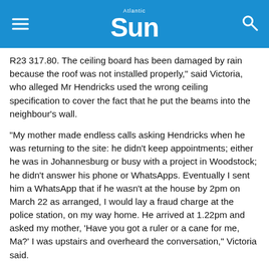Atlantic Sun
R23 317.80. The ceiling board has been damaged by rain because the roof was not installed properly," said Victoria, who alleged Mr Hendricks used the wrong ceiling specification to cover the fact that he put the beams into the neighbour's wall.
“My mother made endless calls asking Hendricks when he was returning to the site: he didn’t keep appointments; either he was in Johannesburg or busy with a project in Woodstock; he didn’t answer his phone or WhatsApps. Eventually I sent him a WhatsApp that if he wasn’t at the house by 2pm on March 22 as arranged, I would lay a fraud charge at the police station, on my way home. He arrived at 1.22pm and asked my mother, ‘Have you got a ruler or a cane for me, Ma?’ I was upstairs and overheard the conversation,” Victoria said.